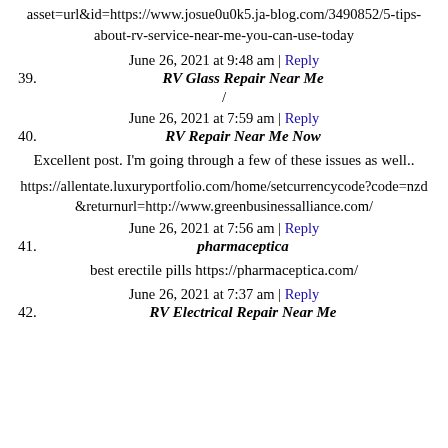asset=url&id=https://www.josue0u0k5.ja-blog.com/3490852/5-tips-about-rv-service-near-me-you-can-use-today
June 26, 2021 at 9:48 am | Reply
39. RV Glass Repair Near Me
/
June 26, 2021 at 7:59 am | Reply
40. RV Repair Near Me Now
Excellent post. I'm going through a few of these issues as well..
https://allentate.luxuryportfolio.com/home/setcurrencycode?code=nzd&returnurl=http://www.greenbusinessalliance.com/
June 26, 2021 at 7:56 am | Reply
41. pharmaceptica
best erectile pills https://pharmaceptica.com/
June 26, 2021 at 7:37 am | Reply
42. RV Electrical Repair Near Me